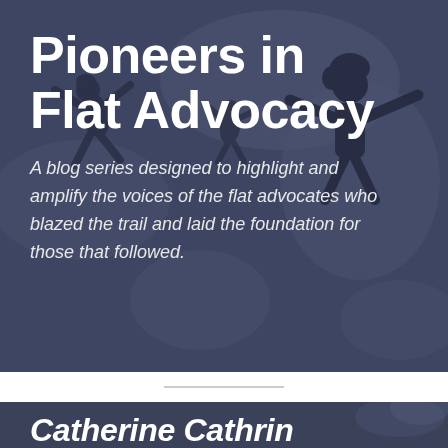[Figure (illustration): Dark blue-grey banner with silhouettes of people in jubilant poses against a muted map-like background]
Pioneers in Flat Advocacy
A blog series designed to highlight and amplify the voices of the flat advocates who blazed the trail and laid the foundation for those that followed.
[Figure (photo): Dark blue-grey photo banner at the bottom, partially visible, with text beginning 'Catherine Cathrin' or similar]